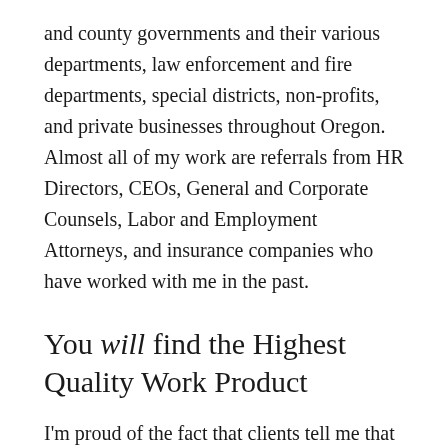and county governments and their various departments, law enforcement and fire departments, special districts, non-profits, and private businesses throughout Oregon. Almost all of my work are referrals from HR Directors, CEOs, General and Corporate Counsels, Labor and Employment Attorneys, and insurance companies who have worked with me in the past.
You will find the Highest Quality Work Product
I'm proud of the fact that clients tell me that my investigative work product stands out and above the rest.